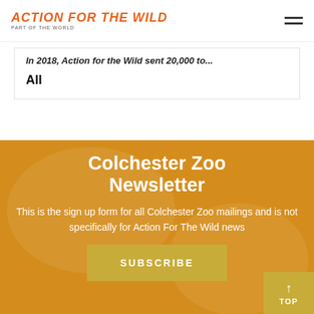Action For The Wild
In 2018, Action for the Wild sent 20,000 to...
All
Colchester Zoo Newsletter
This is the sign up form for all Colchester Zoo mailings and is not specifically for Action For The Wild news
SUBSCRIBE